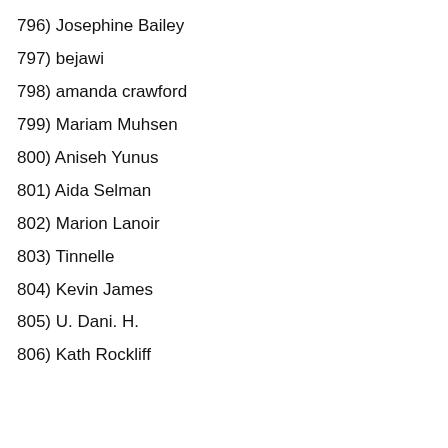796) Josephine Bailey
797) bejawi
798) amanda crawford
799) Mariam Muhsen
800) Aniseh Yunus
801) Aida Selman
802) Marion Lanoir
803) Tinnelle
804) Kevin James
805) U. Dani. H.
806) Kath Rockliff